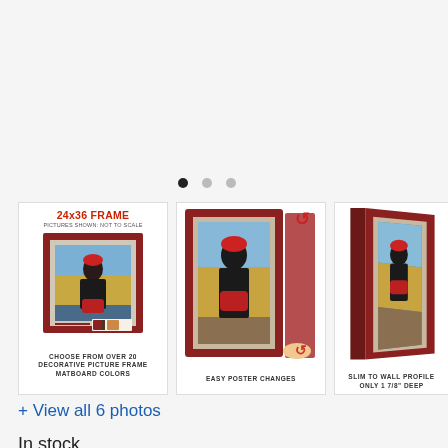[Figure (other): Navigation dots: three circles indicating image carousel position, first dot active]
[Figure (photo): Product image 1: 24x36 frame showing woman in red cap and black outfit holding red purse, with matboard color swatch visible. Text overlay: '24x36 FRAME PICTURES SHOWN: NOT TO SCALE' and 'CHOOSE FROM OVER 20 DECORATIVE PICTURE FRAME MATBOARD COLORS']
[Figure (photo): Product image 2: Open snap frame showing woman in red cap and black outfit, frame being opened for poster changes. Caption: 'EASY POSTER CHANGES']
[Figure (photo): Product image 3: Side profile of frame showing slim wall profile. Caption: 'SLIM TO WALL PROFILE ONLY 1 7/8" DEEP']
+ View all 6 photos
In stock